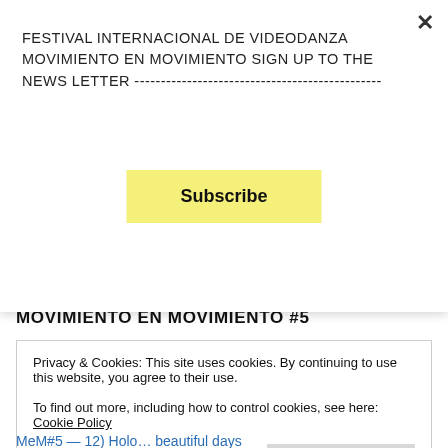FESTIVAL INTERNACIONAL DE VIDEODANZA MOVIMIENTO EN MOVIMIENTO SIGN UP TO THE NEWS LETTER ---------------------------------------------------
Subscribe
MOVIMIENTO EN MOVIMIENTO #5
MeM#5 —1) Itinerarios
MeM#5 —2) Sink or Swim
MeM#5 —3) Cobweb
MeM#5 —4) El Otro
MeM#5 —5) Exquisite Corps
Privacy & Cookies: This site uses cookies. By continuing to use this website, you agree to their use.
To find out more, including how to control cookies, see here: Cookie Policy
Close and accept
MeM#5 — 12) Holo… beautiful days